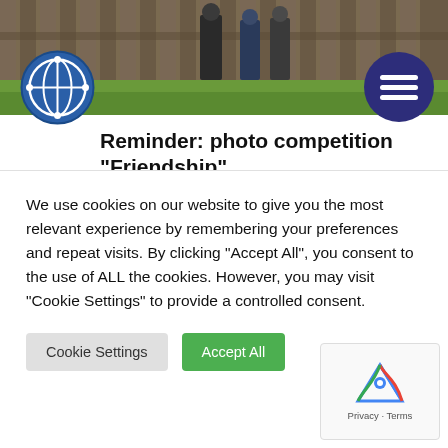[Figure (photo): Outdoor photo showing people near a wooden fence/barn with green grass, used as a website header banner]
[Figure (logo): FEIF circular logo in blue with stylized horse and rider figure]
[Figure (other): Dark blue circle hamburger menu icon with three horizontal white lines]
Reminder: photo competition “Friendship”
Aug 2, 2022 | Leisure Riding
The summer topic for our photo competition (a cooperation between FEIF - IPZV - ÖIV) has the topic FRIENDSHIP and we already received great photos from many of you! However, there is still time to send in your contribution, deadline is
We use cookies on our website to give you the most relevant experience by remembering your preferences and repeat visits. By clicking “Accept All”, you consent to the use of ALL the cookies. However, you may visit “Cookie Settings” to provide a controlled consent.